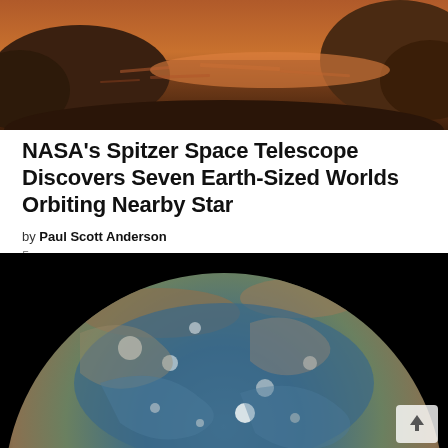[Figure (photo): Artistic rendering of rocky alien landscape with orange reflective sky and water, possibly depicting an exoplanet surface]
NASA's Spitzer Space Telescope Discovers Seven Earth-Sized Worlds Orbiting Nearby Star
by Paul Scott Anderson
5 years ago
[Figure (photo): Close-up photograph of Jupiter's south pole taken by NASA's Juno spacecraft, showing swirling storm systems and cyclones in blue and brown hues against a black background]